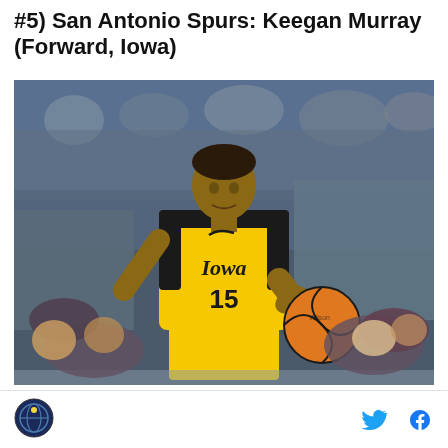#5) San Antonio Spurs: Keegan Murray (Forward, Iowa)
[Figure (photo): Keegan Murray wearing Iowa Hawkeyes gold jersey number 15, dribbling a basketball during an NCAA Tournament game with crowd in background]
Site logo icon, Twitter icon, Facebook icon